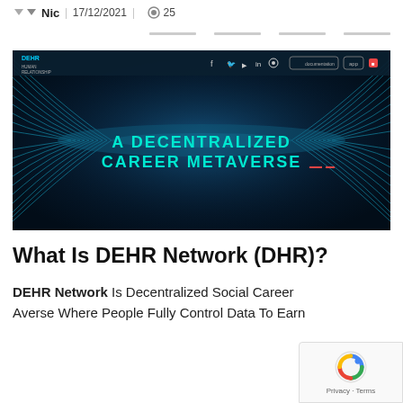Nic | 17/12/2021 | 25
[Figure (screenshot): Screenshot of DEHR Human Relationship website showing a dark background with glowing blue wave/fiber optic lines and the text 'A DECENTRALIZED CAREER METAVERSE' in teal/cyan color. The website header shows DEHR HUMAN RELATIONSHIP logo, social media icons, and navigation buttons including 'documentation' and 'app'.]
What Is DEHR Network (DHR)?
DEHR Network Is Decentralized Social Career Averse Where People Fully Control Data To Earn